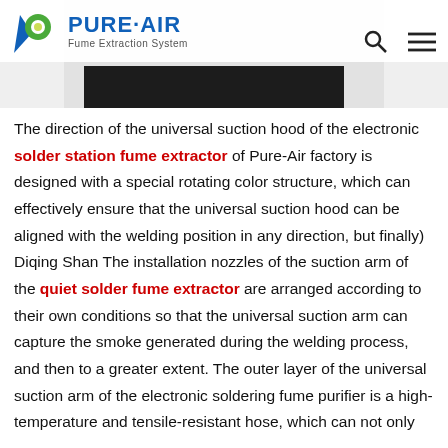[Figure (photo): Product image showing a fume extractor unit with a dark front panel strip, displayed against a light gray background. Pure-Air logo and navigation icons visible in the header overlay.]
The direction of the universal suction hood of the electronic solder station fume extractor of Pure-Air factory is designed with a special rotating color structure, which can effectively ensure that the universal suction hood can be aligned with the welding position in any direction, but finally) Diqing Shan The installation nozzles of the suction arm of the quiet solder fume extractor are arranged according to their own conditions so that the universal suction arm can capture the smoke generated during the welding process, and then to a greater extent. The outer layer of the universal suction arm of the electronic soldering fume purifier is a high-temperature and tensile-resistant hose, which can not only